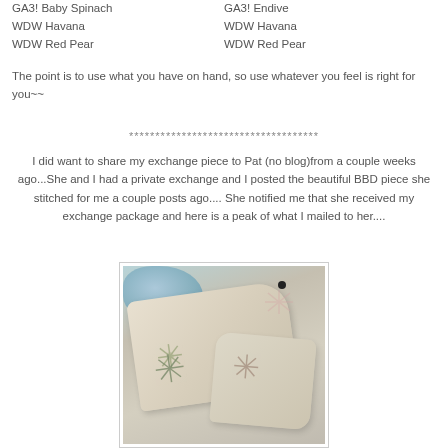GA3! Baby Spinach
WDW Havana
WDW Red Pear
GA3! Endive
WDW Havana
WDW Red Pear
The point is to use what you have on hand, so use whatever you feel is right for you~~
************************************
I did want to share my exchange piece to Pat (no blog)from a couple weeks ago...She and I had a private exchange and I posted the beautiful BBD piece she stitched for me a couple posts ago.... She notified me that she received my exchange package and here is a peak of what I mailed to her....
[Figure (photo): A photograph of cross-stitched fabric pieces with snowflake designs, arranged together with yarn and pins visible in the background.]